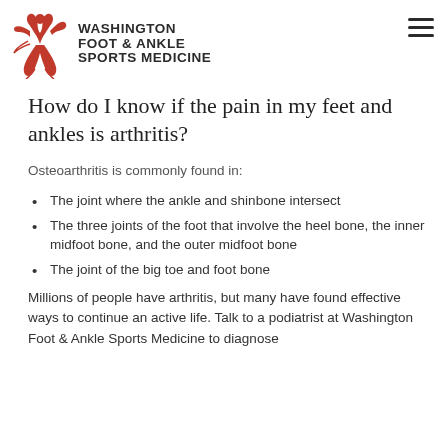[Figure (logo): Washington Foot & Ankle Sports Medicine logo with orange/red bird figure and bold text]
How do I know if the pain in my feet and ankles is arthritis?
Osteoarthritis is commonly found in:
The joint where the ankle and shinbone intersect
The three joints of the foot that involve the heel bone, the inner midfoot bone, and the outer midfoot bone
The joint of the big toe and foot bone
Millions of people have arthritis, but many have found effective ways to continue an active life. Talk to a podiatrist at Washington Foot & Ankle Sports Medicine to diagnose